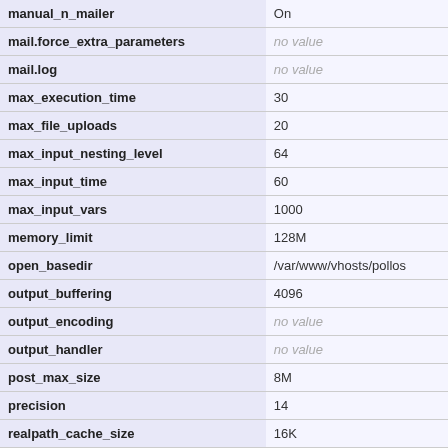| Parameter | Value |
| --- | --- |
| manual_n_mailer | On |
| mail.force_extra_parameters | no value |
| mail.log | no value |
| max_execution_time | 30 |
| max_file_uploads | 20 |
| max_input_nesting_level | 64 |
| max_input_time | 60 |
| max_input_vars | 1000 |
| memory_limit | 128M |
| open_basedir | /var/www/vhosts/pollos |
| output_buffering | 4096 |
| output_encoding | no value |
| output_handler | no value |
| post_max_size | 8M |
| precision | 14 |
| realpath_cache_size | 16K |
| realpath_cache_ttl | 120 |
| register_argc_argv | Off |
| report_memleaks | On |
| report_zend_debug | On |